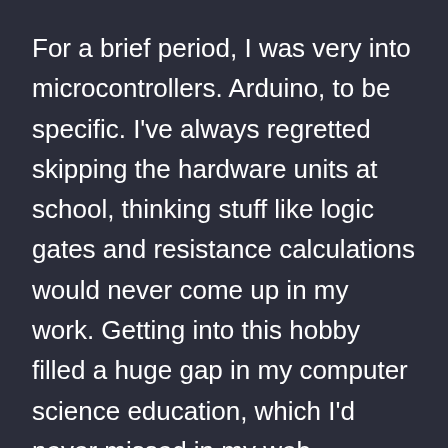For a brief period, I was very into microcontrollers. Arduino, to be specific. I've always regretted skipping the hardware units at school, thinking stuff like logic gates and resistance calculations would never come up in my work. Getting into this hobby filled a huge gap in my computer science education, which I'd never missed in my web development career, but definitely ended up yearning for after school.
The obsessive phase for this hobby was short, but I learned just enough of the concepts, principles and vocabulary to develop Celeste's